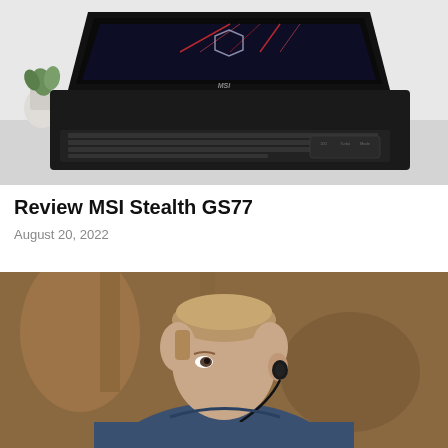[Figure (photo): MSI Stealth GS77 gaming laptop open on a white desk, showing a dark gaming wallpaper on screen, with a small plant in the background]
Review MSI Stealth GS77
August 20, 2022
[Figure (photo): Young man wearing blue jacket and black bone-conduction or ear-hook headphones, looking sideways, warm blurred background]